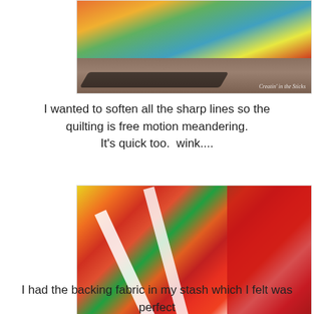[Figure (photo): A colorful quilt displayed outdoors on what appears to be a wooden deck or surface. The quilt shows vibrant rainbow-like curved shapes with a long dark shadow cast on the wooden planks beneath. A watermark reads 'Creatin in the Sticks'.]
I wanted to soften all the sharp lines so the quilting is free motion meandering.
It's quick too.  wink....
[Figure (photo): A close-up photograph of a colorful quilt showing patchwork fabric pieces in red, orange, yellow, green, and multicolored patterns. White curved sashing separates the blocks. The right side shows a red area with decorative quilting. A watermark reads 'Creatin in the Sticks'.]
I had the backing fabric in my stash which I felt was perfect with color and design.